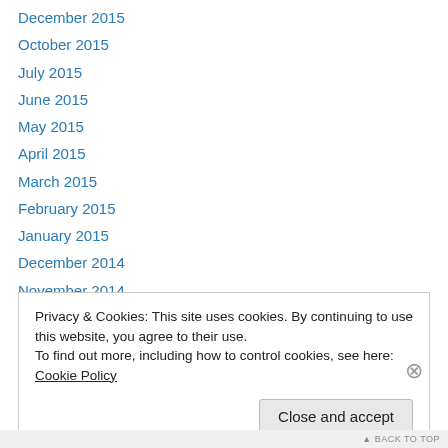December 2015
October 2015
July 2015
June 2015
May 2015
April 2015
March 2015
February 2015
January 2015
December 2014
November 2014
October 2014
September 2014
Privacy & Cookies: This site uses cookies. By continuing to use this website, you agree to their use.
To find out more, including how to control cookies, see here: Cookie Policy
Close and accept